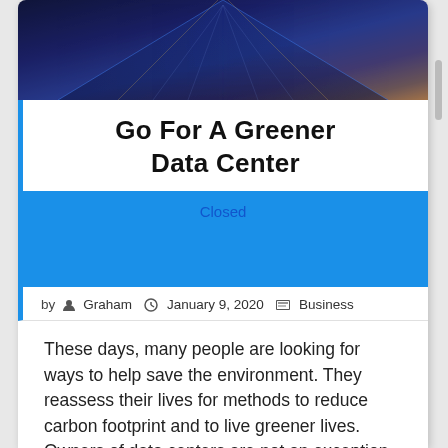[Figure (photo): Aerial/top-down photo of a data center or city with blue and purple lighting, showing server rows or roads at night]
Go For A Greener Data Center
[Figure (other): Blue banner area with 'Closed' text label]
by Graham  January 9, 2020  Business
These days, many people are looking for ways to help save the environment. They reassess their lives for methods to reduce carbon footprint and to live greener lives. Owners of data centers are not an exception. Computers and servers can draw a huge amount of energy. By choosing greener options, the budget for the data center will be cost-effective. It saves money for the data center a...